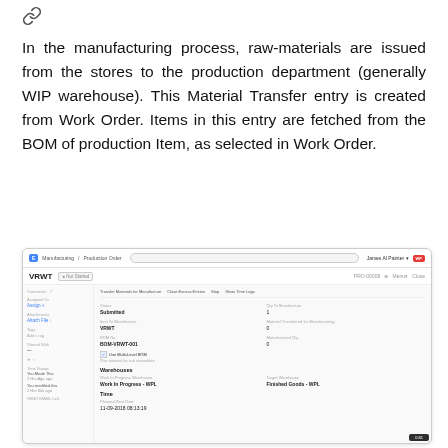[Figure (illustration): Chain link / hyperlink icon]
In the manufacturing process, raw-materials are issued from the stores to the production department (generally WIP warehouse). This Material Transfer entry is created from Work Order. Items in this entry are fetched from the BOM of production Item, as selected in Work Order.
[Figure (screenshot): Screenshot of a manufacturing production order interface showing VRWT work order with fields: Status (Submitted), Item To Manufacture (VRWT), BOM No (BOM-VRWT-001), Use Multi-Level BOM checkbox, Warehouses section with Work In Progress Warehouse (Work In Progress - WPL) and Target Warehouse (Finished Goods - WPL), Time section with Planned Start Date (11-09-2018 08:13:19), and sidebar with Comments, Assign, Attach File, Tags, and other controls.]